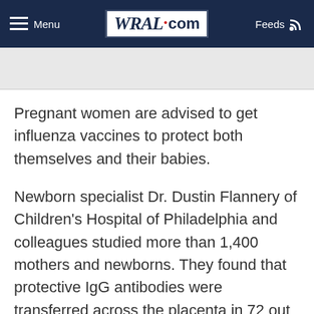Menu | WRAL.com | Feeds
Pregnant women are advised to get influenza vaccines to protect both themselves and their babies.
Newborn specialist Dr. Dustin Flannery of Children's Hospital of Philadelphia and colleagues studied more than 1,400 mothers and newborns. They found that protective IgG antibodies were transferred across the placenta in 72 out of 83 infected